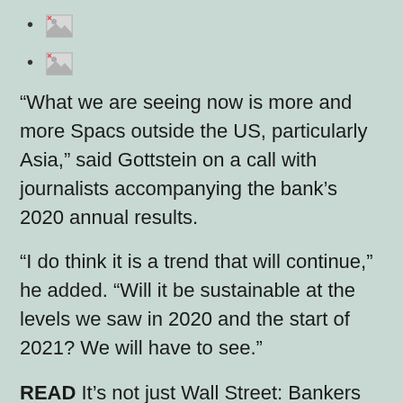[image]
[image]
“What we are seeing now is more and more Spacs outside the US, particularly Asia,” said Gottstein on a call with journalists accompanying the bank’s 2020 annual results.
“I do think it is a trend that will continue,” he added. “Will it be sustainable at the levels we saw in 2020 and the start of 2021? We will have to see.”
READ It’s not just Wall Street: Bankers gear up for European Spac boom